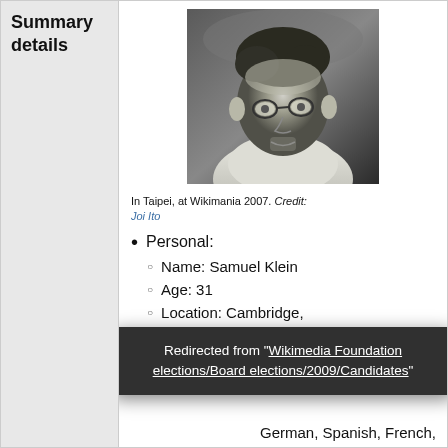Summary details
[Figure (photo): Black and white photo of Samuel Klein at Wikimania 2007 in Taipei, wearing glasses]
In Taipei, at Wikimania 2007. Credit: Joi Ito
Personal:
Name: Samuel Klein
Age: 31
Location: Cambridge,
Redirected from "Wikimedia Foundation elections/Board elections/2009/Candidates"
German, Spanish, French,